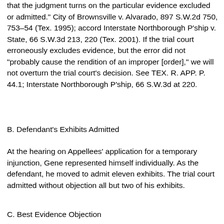that the judgment turns on the particular evidence excluded or admitted." City of Brownsville v. Alvarado, 897 S.W.2d 750, 753–54 (Tex. 1995); accord Interstate Northborough P'ship v. State, 66 S.W.3d 213, 220 (Tex. 2001). If the trial court erroneously excludes evidence, but the error did not "probably cause the rendition of an improper [order]," we will not overturn the trial court's decision. See TEX. R. APP. P. 44.1; Interstate Northborough P'ship, 66 S.W.3d at 220.
B. Defendant's Exhibits Admitted
At the hearing on Appellees' application for a temporary injunction, Gene represented himself individually. As the defendant, he moved to admit eleven exhibits. The trial court admitted without objection all but two of his exhibits.
C. Best Evidence Objection